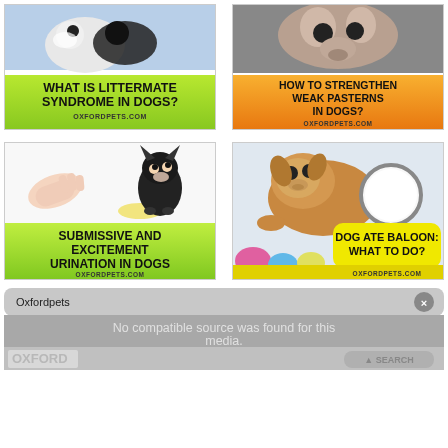[Figure (photo): Card: dogs photo with green label 'What Is Littermate Syndrome In Dogs?' oxfordpets.com]
[Figure (photo): Card: dog photo with orange gradient label 'How To Strengthen Weak Pasterns In Dogs?' oxfordpets.com]
[Figure (photo): Card: chihuahua and hand photo with green label 'Submissive And Excitement Urination In Dogs' oxfordpets.com]
[Figure (photo): Card: dog with mirror photo with yellow label 'Dog Ate Baloon: What To Do?' oxfordpets.com]
[Figure (screenshot): Notification bar: Oxfordpets, No compatible source was found for this media. Oxford logo partially visible, search/action button.]